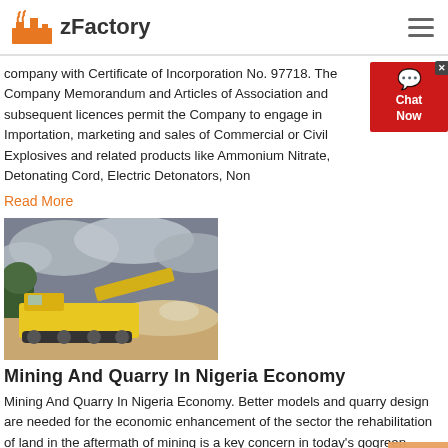zFactory
company with Certificate of Incorporation No. 97718. The Company Memorandum and Articles of Association and subsequent licences permit the Company to engage in Importation, marketing and sales of Commercial or Civil Explosives and related products like Ammonium Nitrate, Detonating Cord, Electric Detonators, Non
Read More
[Figure (photo): Yellow mining/quarry machine (jaw crusher or rock breaker) on a quarry site with cloudy sky background]
Mining And Quarry In Nigeria Economy
Mining And Quarry In Nigeria Economy. Better models and quarry design are needed for the economic enhancement of the sector the rehabilitation of land in the aftermath of mining is a key concern in today's gogreen approach world in addition the waste deposited after the mining activities is huge and must be dealt with up to the standard